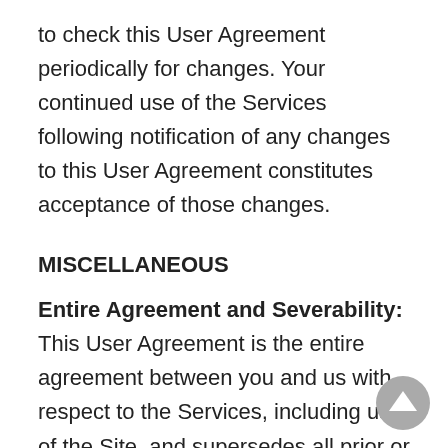to check this User Agreement periodically for changes. Your continued use of the Services following notification of any changes to this User Agreement constitutes acceptance of those changes.
MISCELLANEOUS
Entire Agreement and Severability: This User Agreement is the entire agreement between you and us with respect to the Services, including use of the Site, and supersedes all prior or contemporaneous communications and proposals (whether oral, written or electronic) between you and us with respect to the Services. If any